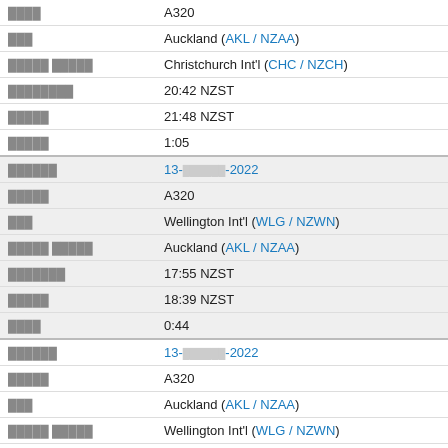| [label] | A320 |
| [label] | Auckland (AKL / NZAA) |
| [label] | Christchurch Int'l (CHC / NZCH) |
| [label] | 20:42 NZST |
| [label] | 21:48 NZST |
| [label] | 1:05 |
| [label] | 13-[redacted]-2022 |
| [label] | A320 |
| [label] | Wellington Int'l (WLG / NZWN) |
| [label] | Auckland (AKL / NZAA) |
| [label] | 17:55 NZST |
| [label] | 18:39 NZST |
| [label] | 0:44 |
| [label] | 13-[redacted]-2022 |
| [label] | A320 |
| [label] | Auckland (AKL / NZAA) |
| [label] | Wellington Int'l (WLG / NZWN) |
| [label] | 15:07 NZST |
| [label] | 15:55 NZST |
| [label] | 0:47 |